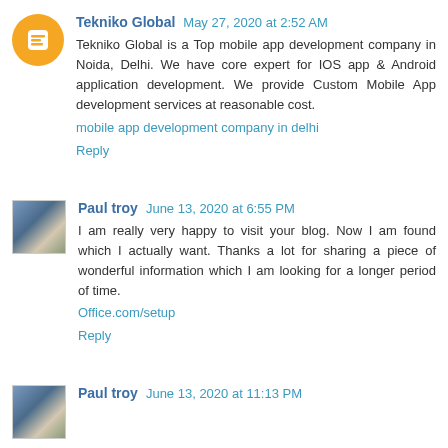Tekniko Global  May 27, 2020 at 2:52 AM
Tekniko Global is a Top mobile app development company in Noida, Delhi. We have core expert for IOS app & Android application development. We provide Custom Mobile App development services at reasonable cost.
mobile app development company in delhi
Reply
Paul troy  June 13, 2020 at 6:55 PM
I am really very happy to visit your blog. Now I am found which I actually want. Thanks a lot for sharing a piece of wonderful information which I am looking for a longer period of time.
Office.com/setup
Reply
Paul troy  June 13, 2020 at 11:13 PM